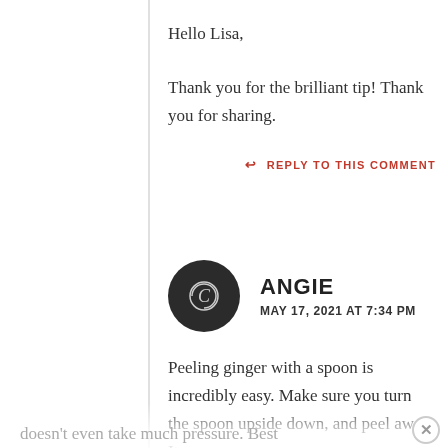Hello Lisa,
Thank you for the brilliant tip! Thank you for sharing.
↩ REPLY TO THIS COMMENT
ANGIE
MAY 17, 2021 AT 7:34 PM
Peeling ginger with a spoon is incredibly easy. Make sure you turn the spoon upside down, and peel away. It doesn't even take much pressure. Best